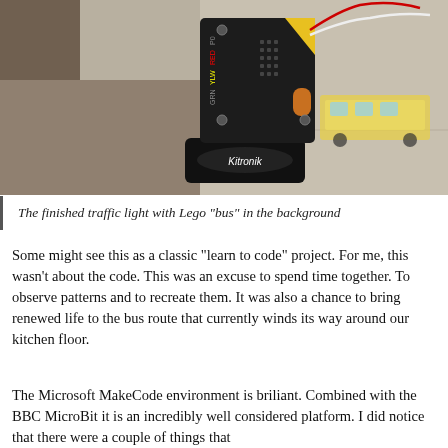[Figure (photo): A BBC micro:bit mounted on a Kitronik board used as a traffic light, with wires attached, sitting on a flat surface. A Lego bus is visible in the background.]
The finished traffic light with Lego "bus" in the background
Some might see this as a classic “learn to code” project. For me, this wasn't about the code. This was an excuse to spend time together. To observe patterns and to recreate them. It was also a chance to bring renewed life to the bus route that currently winds its way around our kitchen floor.
The Microsoft MakeCode environment is briliant. Combined with the BBC MicroBit it is an incredibly well considered platform. I did notice that there were a couple of things that